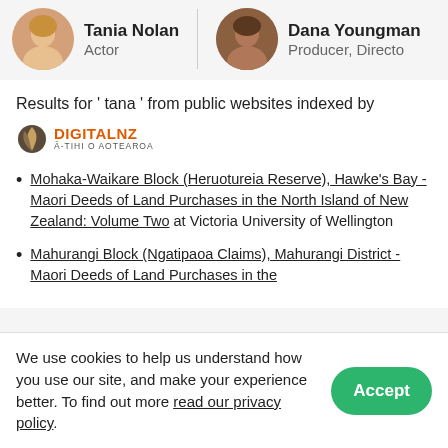[Figure (photo): Two person cards at top: left shows a woman labeled 'Tania Nolan' with role 'Actor', right shows a person labeled 'Dana Youngman' with role 'Producer, Director']
Results for 'tana' from public websites indexed by
[Figure (logo): DigitalNZ logo with fern icon, text 'DIGITALNZ' in orange and 'A-TIHI O AOTEAROA' below]
Mohaka-Waikare Block (Heruotureia Reserve), Hawke's Bay - Maori Deeds of Land Purchases in the North Island of New Zealand: Volume Two at Victoria University of Wellington
Mahurangi Block (Ngatipaoa Claims), Mahurangi District - Maori Deeds of Land Purchases in the
We use cookies to help us understand how you use our site, and make your experience better. To find out more read our privacy policy.